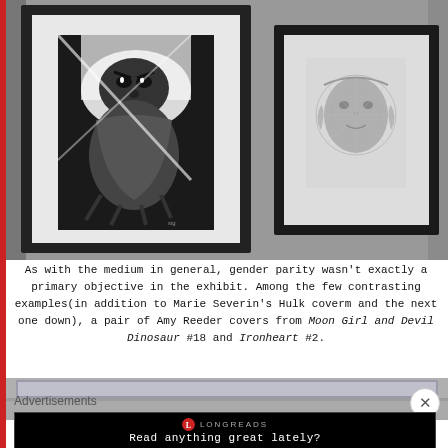[Figure (photo): Two framed black-and-white comic book cover artworks hanging on a gray wall. The left frame is larger and contains a dramatic illustration of a figure with an animal. The right frame is smaller with a more delicate illustration of a face.]
As with the medium in general, gender parity wasn't exactly a primary objective in the exhibit. Among the few contrasting examples(in addition to Marie Severin's Hulk coverm and the next one down), a pair of Amy Reeder covers from Moon Girl and Devil Dinosaur #18 and Ironheart #2.
[Figure (photo): Partial view of another framed artwork, cut off at the bottom of the page.]
Advertisements
[Figure (screenshot): Longreads advertisement banner on black background with logo and text: Read anything great lately?]